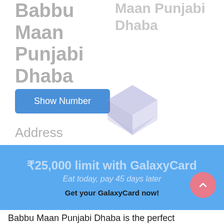Babbu Maan Punjabi Dhaba
Maan Punjabi Dhaba
Show Number
Address
Opposite E19/223 Sector 3 Rohini New Delhi
LOADING ...
[Figure (illustration): 3D purple/blue hexagonal box icon overlay]
₹25,000 limit with GalaxyCard
Eat today, pay 45 days later
Get your GalaxyCard now!
Whether you are starving or just need a quick bite, Babbu Maan Punjabi Dhaba is the perfect